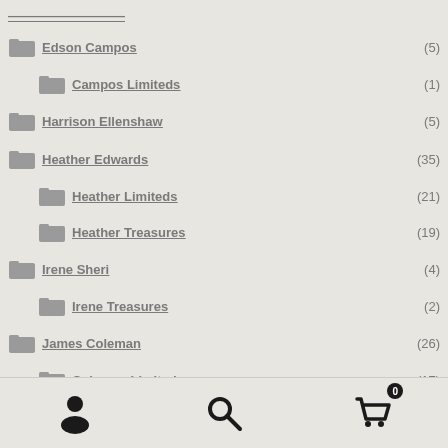Edson Campos (5)
Campos Limiteds (1)
Harrison Ellenshaw (5)
Heather Edwards (35)
Heather Limiteds (21)
Heather Treasures (19)
Irene Sheri (4)
Irene Treasures (2)
James Coleman (26)
Coleman Limiteds (17)
Coleman Treasures (4)
User | Search | Cart (0)